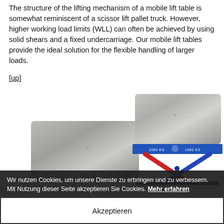The structure of the lifting mechanism of a mobile lift table is somewhat reminiscent of a scissor lift pallet truck. However, higher working load limits (WLL) can often be achieved by using solid shears and a fixed undercarriage. Our mobile lift tables provide the ideal solution for the flexible handling of larger loads.
[up]
[Figure (photo): Two images side by side: on the left, a concrete block without a lift table; on the right, a blue scissor lift table supporting a concrete block, with text '1000 KG' on the blue platform.]
Wir nutzen Cookies, um unsere Dienste zu erbringen und zu verbessern. Mit Nutzung dieser Seite akzeptieren Sie Cookies. Mehr erfahren
Akzeptieren